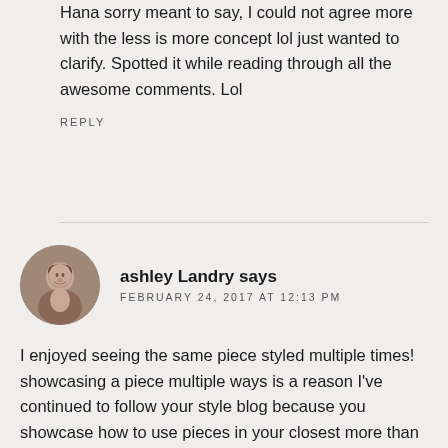Hana sorry meant to say, I could not agree more with the less is more concept lol just wanted to clarify. Spotted it while reading through all the awesome comments. Lol
REPLY
ashley Landry says
FEBRUARY 24, 2017 AT 12:13 PM
I enjoyed seeing the same piece styled multiple times! showcasing a piece multiple ways is a reason I've continued to follow your style blog because you showcase how to use pieces in your closest more than once and from season to season - and I love that! Keep up the great work!!